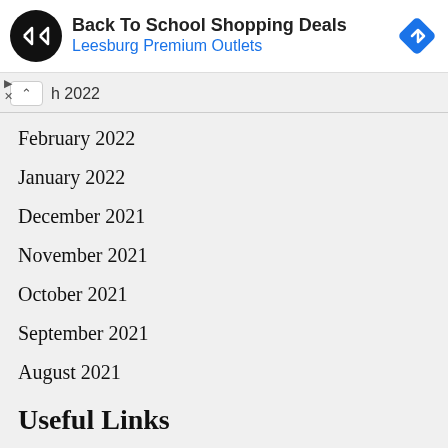[Figure (other): Advertisement banner for 'Back To School Shopping Deals' at Leesburg Premium Outlets, with a circular black logo with double-arrow icon on the left and a blue diamond navigation icon on the right. Small play and close (X) controls at lower left.]
h 2022
February 2022
January 2022
December 2021
November 2021
October 2021
September 2021
August 2021
Useful Links